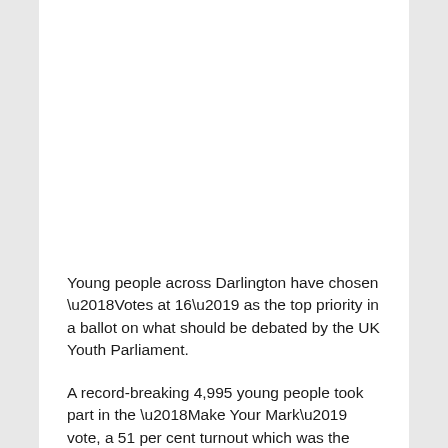Young people across Darlington have chosen ‘Votes at 16’ as the top priority in a ballot on what should be debated by the UK Youth Parliament.
A record-breaking 4,995 young people took part in the ‘Make Your Mark’ vote, a 51 per cent turnout which was the highest in the North East